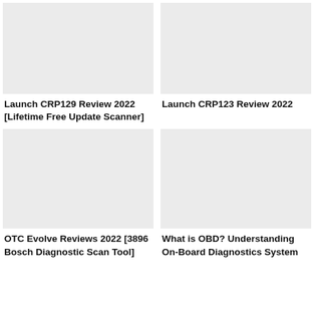[Figure (photo): Placeholder image for Launch CRP129 Review 2022]
[Figure (photo): Placeholder image for Launch CRP123 Review 2022]
Launch CRP129 Review 2022 [Lifetime Free Update Scanner]
Launch CRP123 Review 2022
[Figure (photo): Placeholder image for OTC Evolve Reviews 2022]
[Figure (photo): Placeholder image for What is OBD? Understanding On-Board Diagnostics System]
OTC Evolve Reviews 2022 [3896 Bosch Diagnostic Scan Tool]
What is OBD? Understanding On-Board Diagnostics System